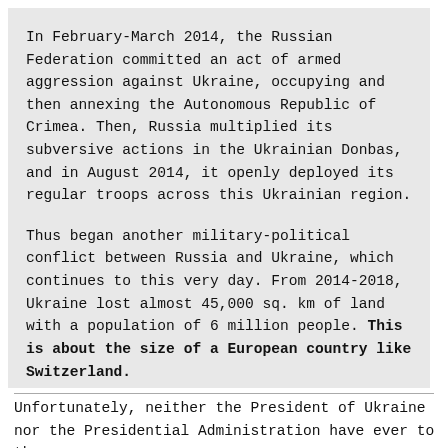In February-March 2014, the Russian Federation committed an act of armed aggression against Ukraine, occupying and then annexing the Autonomous Republic of Crimea. Then, Russia multiplied its subversive actions in the Ukrainian Donbas, and in August 2014, it openly deployed its regular troops across this Ukrainian region.
Thus began another military-political conflict between Russia and Ukraine, which continues to this very day. From 2014-2018, Ukraine lost almost 45,000 sq. km of land with a population of 6 million people. This is about the size of a European country like Switzerland.
Unfortunately, neither the President of Ukraine nor the Presidential Administration have ever to the...